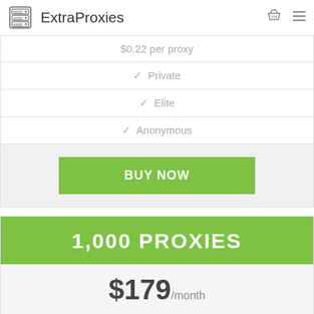ExtraProxies
| $0.22 per proxy |
| ✓ Private |
| ✓ Elite |
| ✓ Anonymous |
| BUY NOW |
1,000 PROXIES
$179/month
50% DISCOUNT!